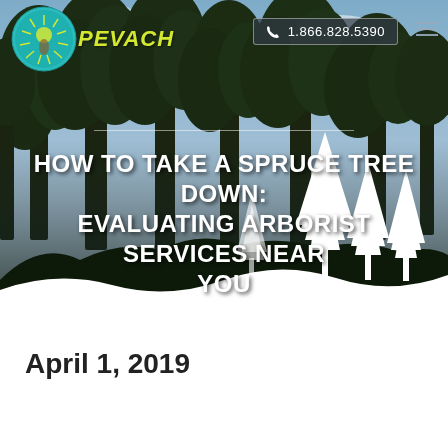[Figure (photo): Hero image of tall spruce/pine trees viewed from below against a cloudy sky, with white silhouette tree cutouts at bottom. Dark forest tones with sky visible through tree canopy.]
PEVACH | 1.866.828.5390
HOW TO TAKE A SPRUCE TREE DOWN: EVALUATING ARBORIST SERVICES NEAR YOU
April 1, 2019